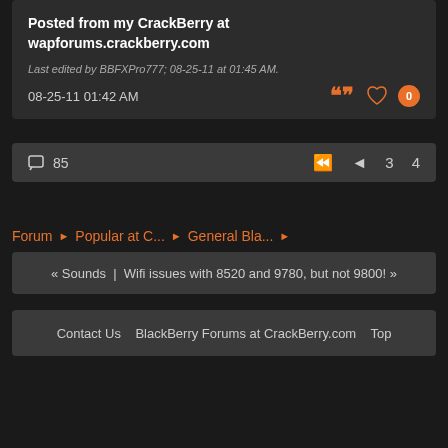Posted from my CrackBerry at wapforums.crackberry.com
Last edited by BBFXPro777; 08-25-11 at 01:45 AM.
08-25-11 01:42 AM
85
3   4
Forum ▶ Popular at C... ▶ General Bla... ▶
« Sounds | Wifi issues with 8520 and 9780, but not 9800! »
Contact Us   BlackBerry Forums at CrackBerry.com   Top